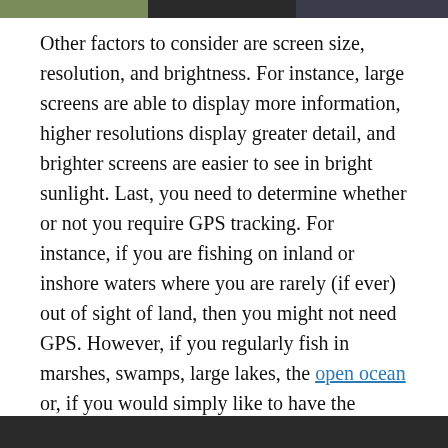[Figure (photo): Top strip showing partial images: green/nature scene on left, dark background in center and right]
Other factors to consider are screen size, resolution, and brightness. For instance, large screens are able to display more information, higher resolutions display greater detail, and brighter screens are easier to see in bright sunlight. Last, you need to determine whether or not you require GPS tracking. For instance, if you are fishing on inland or inshore waters where you are rarely (if ever) out of sight of land, then you might not need GPS. However, if you regularly fish in marshes, swamps, large lakes, the open ocean or, if you would simply like to have the ability to track your distance, speed, and location at any given time as well as mark hot spots, then GPS is a must have feature in a kayak fish finder.
Last, when choosing a fish finder for your kayak, it is important to choose one that is neither too large nor too heavy because one that is too large can interfere with fighting and landing fish and one that is too heavy can